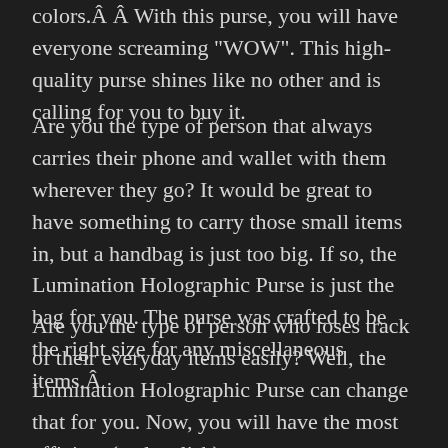colors.Â Â With this purse, you will have everyone screaming "WOW". This high-quality purse shines like no other and is calling for you to buy it.
Are you the type of person that always carries their phone and wallet with them wherever they go? It would be great to have something to carry those small items in, but a handbag is just too big. If so, the Lumination Holographic Purse is just the bag for you. The purse was crafted to be the right size for any miscellaneous items.Â
Are you the type of person who loses track of their everyday items easily? Well, the Lumination Holographic Purse can change that for you. Now, you will have the most efficient (and stylish) way to store your phone, wallet, and maybe even some chapstick. Thanks to the purse's unique ability to shine bright,